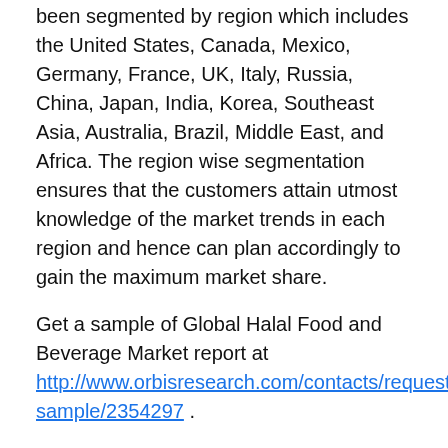been segmented by region which includes the United States, Canada, Mexico, Germany, France, UK, Italy, Russia, China, Japan, India, Korea, Southeast Asia, Australia, Brazil, Middle East, and Africa. The region wise segmentation ensures that the customers attain utmost knowledge of the market trends in each region and hence can plan accordingly to gain the maximum market share.
Get a sample of Global Halal Food and Beverage Market report at http://www.orbisresearch.com/contacts/request-sample/2354297 .
In terms of types, the global Halal Food and Beverage market is segmented into Halal Food, Halal Drinks, Halal Supplements Industry gaining